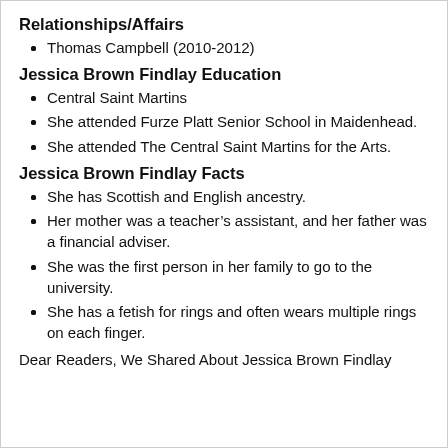Relationships/Affairs
Thomas Campbell (2010-2012)
Jessica Brown Findlay Education
Central Saint Martins
She attended Furze Platt Senior School in Maidenhead.
She attended The Central Saint Martins for the Arts.
Jessica Brown Findlay Facts
She has Scottish and English ancestry.
Her mother was a teacher’s assistant, and her father was a financial adviser.
She was the first person in her family to go to the university.
She has a fetish for rings and often wears multiple rings on each finger.
Dear Readers, We Shared About Jessica Brown Findlay